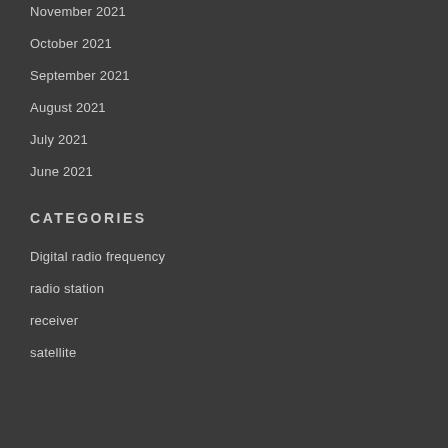November 2021
October 2021
September 2021
August 2021
July 2021
June 2021
CATEGORIES
Digital radio frequency
radio station
receiver
satellite